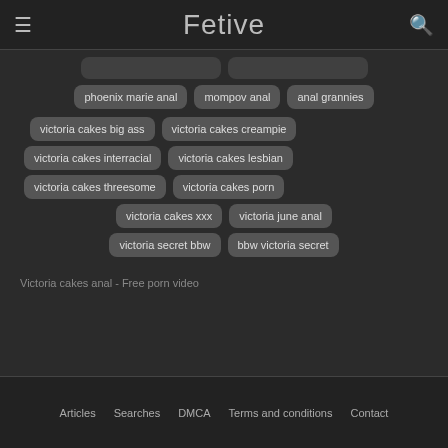Fetive
phoenix marie anal | mompov anal | anal grannies
victoria cakes big ass | victoria cakes creampie
victoria cakes interracial | victoria cakes lesbian
victoria cakes threesome | victoria cakes porn
victoria cakes xxx | victoria june anal
victoria secret bbw | bbw victoria secret
Victoria cakes anal - Free porn video
Articles  Searches  DMCA  Terms and conditions  Contact